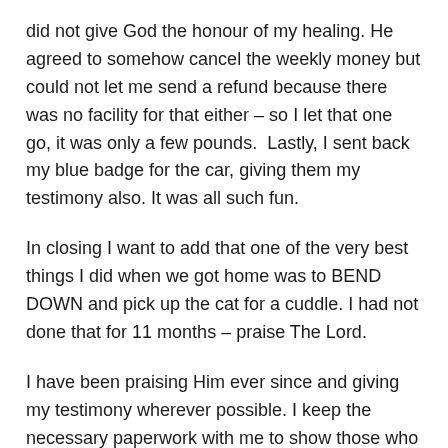did not give God the honour of my healing. He agreed to somehow cancel the weekly money but could not let me send a refund because there was no facility for that either – so I let that one go, it was only a few pounds.  Lastly, I sent back my blue badge for the car, giving them my testimony also. It was all such fun.
In closing I want to add that one of the very best things I did when we got home was to BEND DOWN and pick up the cat for a cuddle. I had not done that for 11 months – praise The Lord.
I have been praising Him ever since and giving my testimony wherever possible. I keep the necessary paperwork with me to show those who don't believe, but nobody has asked to see it yet. [See Appendices, which also appear on HOTS Bath website.]